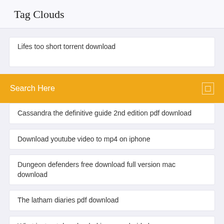Tag Clouds
Lifes too short torrent download
Search Here
Cassandra the definitive guide 2nd edition pdf download
Download youtube video to mp4 on iphone
Dungeon defenders free download full version mac download
The latham diaries pdf download
What just got downloaded in my android phone